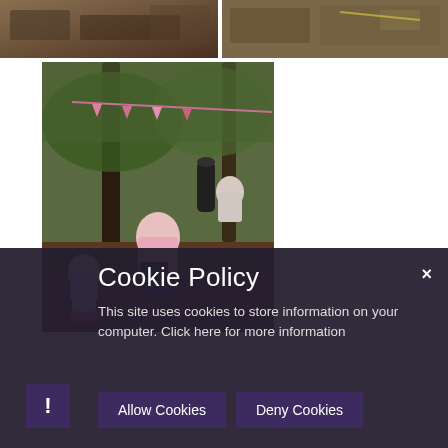[Figure (photo): Top strip showing two outdoor/woodland photos side by side]
[Figure (photo): Children playing in a woodland/forest school setting, sitting on logs, wearing wellies and outdoor clothing]
Cookie Policy
This site uses cookies to store information on your computer. Click here for more information
Allow Cookies
Deny Cookies